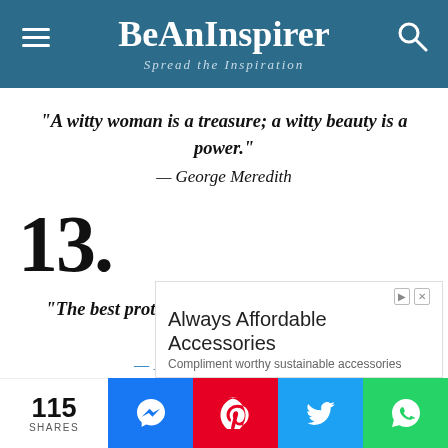BeAnInspirer — Spread the Inspiration
“A witty woman is a treasure; a witty beauty is a power.” — George Meredith
13.
“The best protection any woman can have… is courage.” — Elizabeth Cady Stanton
Always Affordable Accessories
Compliment worthy sustainable accessories
115 SHARES